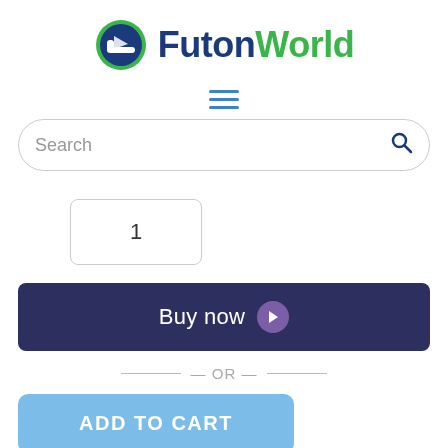[Figure (logo): FutonWorld logo with blue circle icon containing a futon/chair graphic, and text 'Futon' in dark blue and 'World' in green]
[Figure (infographic): Hamburger menu icon with three horizontal blue lines]
Search
1
Buy now
— OR —
ADD TO CART